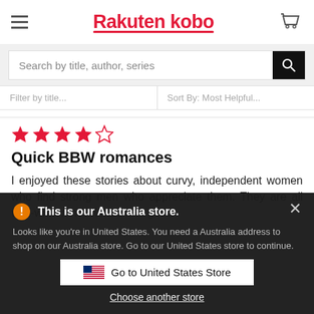Rakuten kobo
Search by title, author, series
Filter by title...   Sort By: Most Helpful...
[Figure (other): 4 out of 5 stars rating]
Quick BBW romances
I enjoyed these stories about curvy, independent women who find strong men who appreciate them. They are all well-written novelettes with good
This is our Australia store.
Looks like you're in United States. You need a Australia address to shop on our Australia store. Go to our United States store to continue.
Go to United States Store
Choose another store